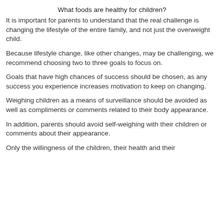What foods are healthy for children?
It is important for parents to understand that the real challenge is changing the lifestyle of the entire family, and not just the overweight child.
Because lifestyle change, like other changes, may be challenging, we recommend choosing two to three goals to focus on.
Goals that have high chances of success should be chosen, as any success you experience increases motivation to keep on changing.
Weighing children as a means of surveillance should be avoided as well as compliments or comments related to their body appearance.
In addition, parents should avoid self-weighing with their children or comments about their appearance.
Only the willingness of the children, their health and their